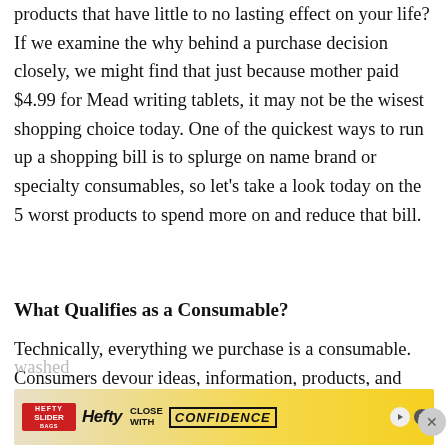products that have little to no lasting effect on your life? If we examine the why behind a purchase decision closely, we might find that just because mother paid $4.99 for Mead writing tablets, it may not be the wisest shopping choice today. One of the quickest ways to run up a shopping bill is to splurge on name brand or specialty consumables, so let’s take a look today on the 5 worst products to spend more on and reduce that bill.
What Qualifies as a Consumable?
Technically, everything we purchase is a consumable. Consumers devour ideas, information, products, and services around the clock, but a more refined definition of a consumable product would be anything that gets
washed
[Figure (other): Advertisement banner for Hefty Slider bags with yellow background showing Hefty logo and 'CLOSE WITH CONFIDENCE' tagline]